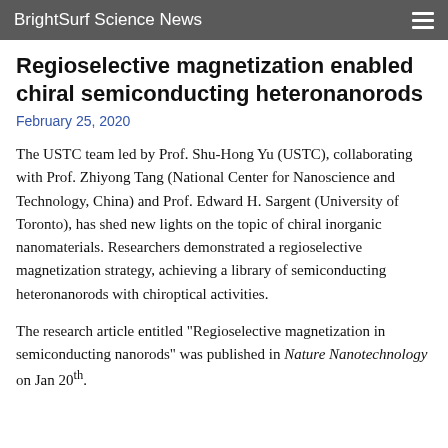BrightSurf Science News
Regioselective magnetization enabled chiral semiconducting heteronanorods
February 25, 2020
The USTC team led by Prof. Shu-Hong Yu (USTC), collaborating with Prof. Zhiyong Tang (National Center for Nanoscience and Technology, China) and Prof. Edward H. Sargent (University of Toronto), has shed new lights on the topic of chiral inorganic nanomaterials. Researchers demonstrated a regioselective magnetization strategy, achieving a library of semiconducting heteronanorods with chiroptical activities.
The research article entitled "Regioselective magnetization in semiconducting nanorods" was published in Nature Nanotechnology on Jan 20th.